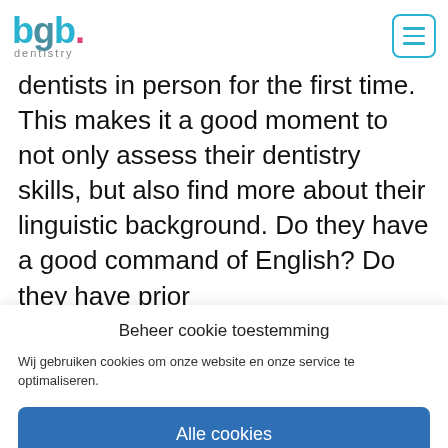bgb dentistry
dentists in person for the first time. This makes it a good moment to not only assess their dentistry skills, but also find more about their linguistic background. Do they have a good command of English? Do they have prior
Beheer cookie toestemming
Wij gebruiken cookies om onze website en onze service te optimaliseren.
Alle cookies
Weigeren